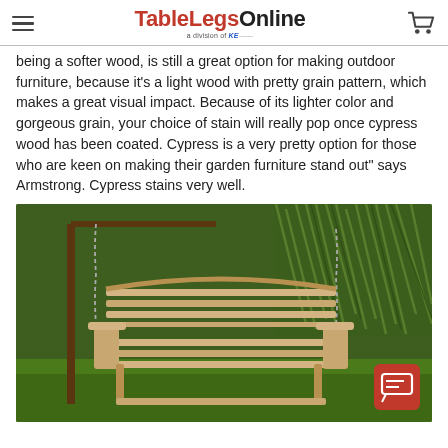TableLegsOnline — a division of KE
being a softer wood, is still a great option for making outdoor furniture, because it's a light wood with pretty grain pattern, which makes a great visual impact. Because of its lighter color and gorgeous grain, your choice of stain will really pop once cypress wood has been coated. Cypress is a very pretty option for those who are keen on making their garden furniture stand out" says Armstrong. Cypress stains very well.
[Figure (photo): Wooden porch swing bench suspended by chains, natural light wood finish, set against a green garden background with ornamental grass.]